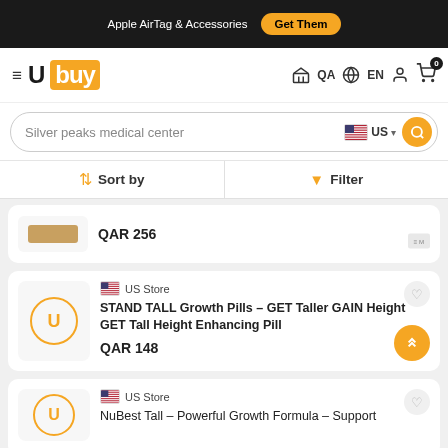Apple AirTag & Accessories  Get Them
[Figure (logo): Ubuy logo with hamburger menu, QA region selector, EN language, user icon, and cart with 0 badge]
Silver peaks medical center US
Sort by   Filter
QAR 256
US Store
STAND TALL Growth Pills – GET Taller GAIN Height GET Tall Height Enhancing Pill
QAR 148
US Store
NuBest Tall – Powerful Growth Formula – Support